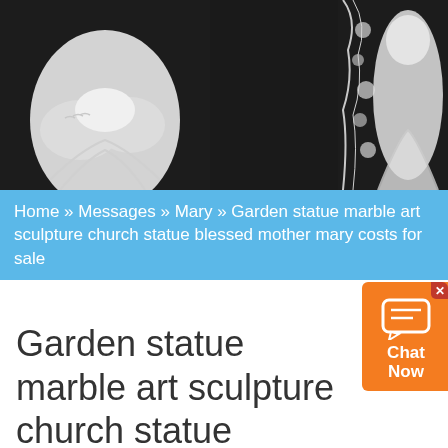[Figure (photo): Hero image showing white marble religious statues against dark background. Left side shows a figure holding a lamb, right side shows an ornate marble statue fragment.]
Home » Messages » Mary » Garden statue marble art sculpture church statue blessed mother mary costs for sale
Garden statue marble art sculpture church statue blessed mother mary costs for sale
[Figure (screenshot): YouFine video thumbnail showing Fine Art marble sculptures factory with dark background and three-dot menu icon.]